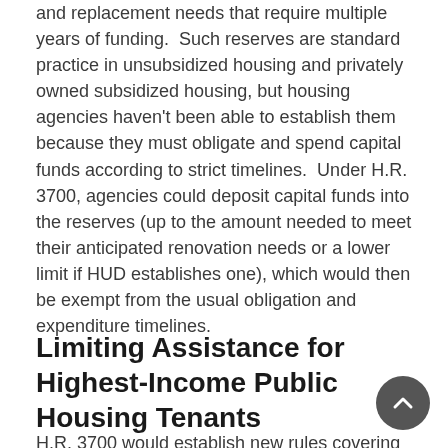and replacement needs that require multiple years of funding.  Such reserves are standard practice in unsubsidized housing and privately owned subsidized housing, but housing agencies haven't been able to establish them because they must obligate and spend capital funds according to strict timelines.  Under H.R. 3700, agencies could deposit capital funds into the reserves (up to the amount needed to meet their anticipated renovation needs or a lower limit if HUD establishes one), which would then be exempt from the usual obligation and expenditure timelines.
Limiting Assistance for Highest-Income Public Housing Tenants
H.R. 3700 would establish new rules covering public housing tenants who have incomes above 120 percent of the local area median for two consecutive years.[20] Housing agencies would be required to act within on